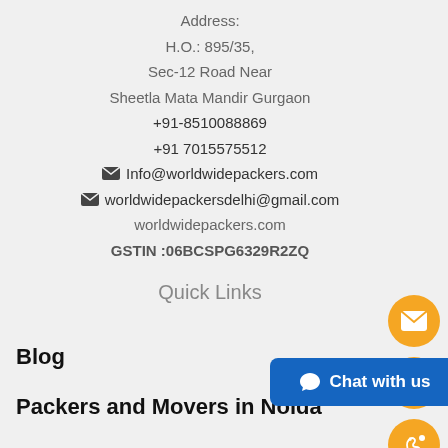Address:
H.O.: 895/35,
Sec-12 Road Near
Sheetla Mata Mandir Gurgaon
+91-8510088869
+91 7015575512
✉ Info@worldwidepackers.com
✉ worldwidepackersdelhi@gmail.com
worldwidepackers.com
GSTIN :06BCSPG6329R2ZQ
Quick Links
Blog
Packers and Movers in Noida